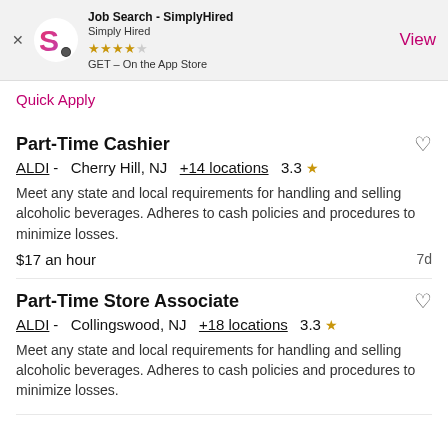[Figure (screenshot): SimplyHired app install banner with logo, star rating, and View button]
Quick Apply
Part-Time Cashier
ALDI -  Cherry Hill, NJ  +14 locations  3.3 ★
Meet any state and local requirements for handling and selling alcoholic beverages. Adheres to cash policies and procedures to minimize losses.
$17 an hour  7d
Part-Time Store Associate
ALDI -  Collingswood, NJ  +18 locations  3.3 ★
Meet any state and local requirements for handling and selling alcoholic beverages. Adheres to cash policies and procedures to minimize losses.